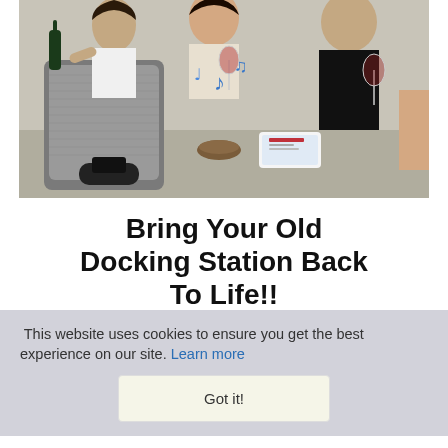[Figure (photo): Photo of people at a kitchen counter with a large speaker/docking station in the foreground. One person pours wine, others hold wine glasses. Musical notes are drawn over the speaker. A smartphone sits on the counter.]
Bring Your Old Docking Station Back To Life!!
Posted 3 Apr • Music
This website uses cookies to ensure you get the best experience on our site. Learn more
Got it!